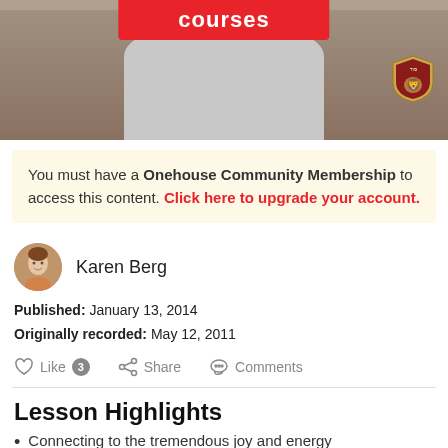[Figure (photo): Hero banner with a person seated in a chair wearing a gray outfit, with a red 'courses' button at the top and a shield/crest logo at the right side.]
You must have a Onehouse Community Membership to access this content. Click here to upgrade your account.
Karen Berg
Published: January 13, 2014
Originally recorded: May 12, 2011
Like 3   Share   Comments
Lesson Highlights
Connecting to the tremendous joy and energy